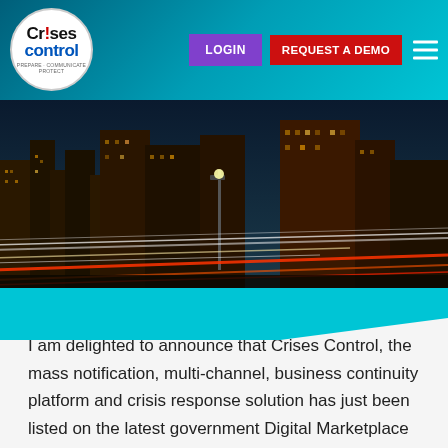[Figure (logo): Crises Control logo: circular white badge with text 'Crises Control' and tagline 'Prepare Communicate Protect' around the ring]
LOGIN   REQUEST A DEMO
[Figure (photo): Night cityscape photo showing London buildings with streaking light trails from traffic]
I am delighted to announce that Crises Control, the mass notification, multi-channel, business continuity platform and crisis response solution has just been listed on the latest government Digital Marketplace through the G-Cloud 10